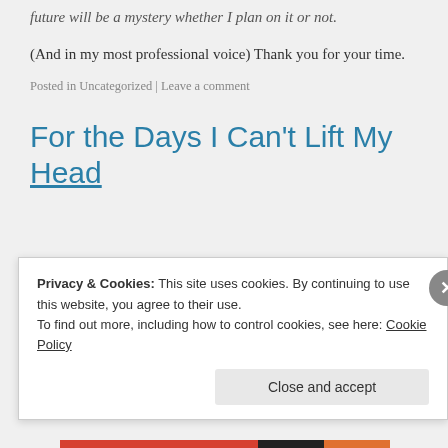future will be a mystery whether I plan on it or not.
(And in my most professional voice) Thank you for your time.
Posted in Uncategorized | Leave a comment
For the Days I Can't Lift My Head
Privacy & Cookies: This site uses cookies. By continuing to use this website, you agree to their use. To find out more, including how to control cookies, see here: Cookie Policy
Close and accept